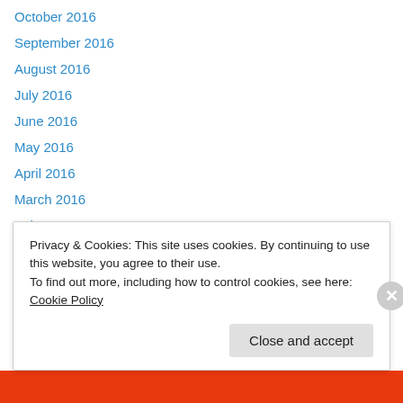October 2016
September 2016
August 2016
July 2016
June 2016
May 2016
April 2016
March 2016
February 2016
January 2016
December 2015
November 2015
October 2015
Privacy & Cookies: This site uses cookies. By continuing to use this website, you agree to their use.
To find out more, including how to control cookies, see here: Cookie Policy
Close and accept